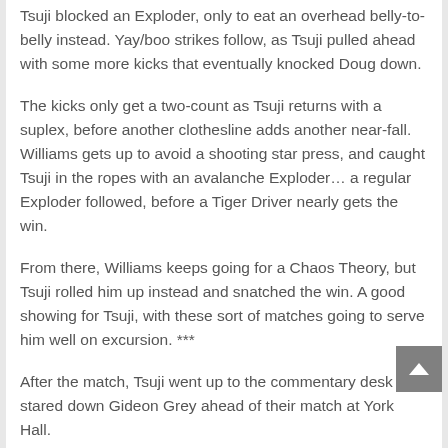Tsuji blocked an Exploder, only to eat an overhead belly-to-belly instead. Yay/boo strikes follow, as Tsuji pulled ahead with some more kicks that eventually knocked Doug down.
The kicks only get a two-count as Tsuji returns with a suplex, before another clothesline adds another near-fall. Williams gets up to avoid a shooting star press, and caught Tsuji in the ropes with an avalanche Exploder… a regular Exploder followed, before a Tiger Driver nearly gets the win.
From there, Williams keeps going for a Chaos Theory, but Tsuji rolled him up instead and snatched the win. A good showing for Tsuji, with these sort of matches going to serve him well on excursion. ***
After the match, Tsuji went up to the commentary desk and stared down Gideon Grey ahead of their match at York Hall.